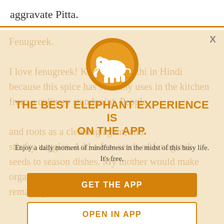aggravate Pitta.
[Figure (infographic): App promotion modal overlay with elephant logo icon (white elephant on orange circle), title 'THE BEST ELEPHANT EXPERIENCE IS ON THE APP.', subtitle text, and two call-to-action buttons: 'GET THE APP' and 'OPEN IN APP'. Background shows faded article text about fenugreek.]
THE BEST ELEPHANT EXPERIENCE IS ON THE APP.
Enjoy a daily moment of mindfulness in the midst of this busy life. It's free.
GET THE APP
OPEN IN APP